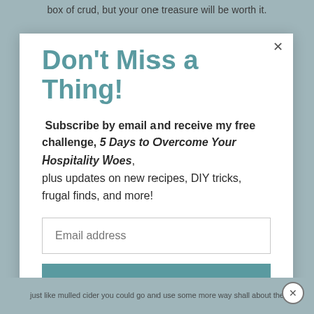box of crud, but your one treasure will be worth it.
Don't Miss a Thing!
Subscribe by email and receive my free challenge, 5 Days to Overcome Your Hospitality Woes, plus updates on new recipes, DIY tricks, frugal finds, and more!
Email address
SUBSCRIBE
just like mulled cider you could go and use some more way shall about the